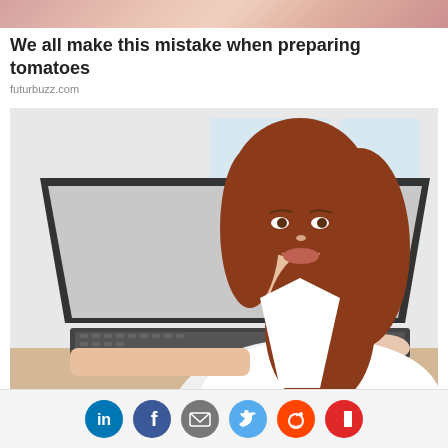[Figure (photo): Partial top strip of a photo showing tomatoes]
We all make this mistake when preparing tomatoes
futurbuzz.com
[Figure (photo): Young woman with long red hair wearing white shirt, smiling at camera while working on a laptop computer]
[Figure (infographic): Social sharing icons row: LinkedIn (blue), Facebook (blue), Email/envelope (grey), Twitter (light blue), Reddit (orange), Flipboard (red)]